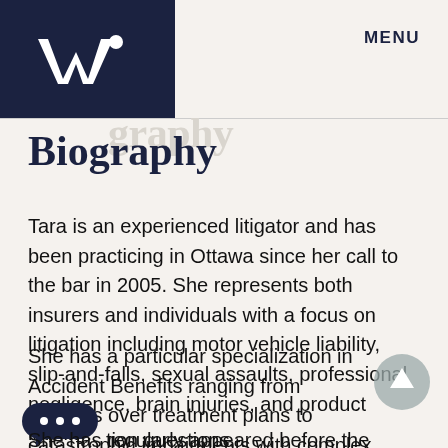W [logo] | MENU
Biography
Tara is an experienced litigator and has been practicing in Ottawa since her call to the bar in 2005. She represents both insurers and individuals with a focus on litigation including motor vehicle liability, slip-and-falls, sexual assaults, professional negligence, brain injuries, and product liability.
She has a particular specialization in Accident Benefits ranging from disputes over treatment plans to catastrophic impairments with complex [chat] tion questions.
She has regularly appeared before the Superior